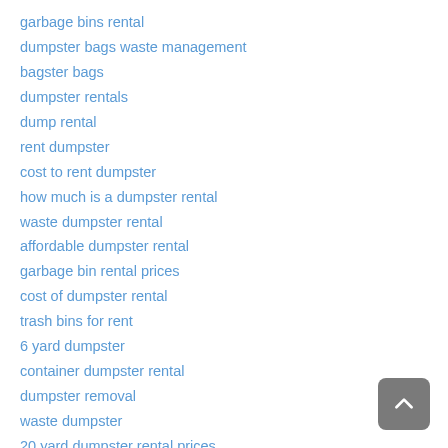garbage bins rental
dumpster bags waste management
bagster bags
dumpster rentals
dump rental
rent dumpster
cost to rent dumpster
how much is a dumpster rental
waste dumpster rental
affordable dumpster rental
garbage bin rental prices
cost of dumpster rental
trash bins for rent
6 yard dumpster
container dumpster rental
dumpster removal
waste dumpster
20 yard dumpster rental prices
find a dumpster near me